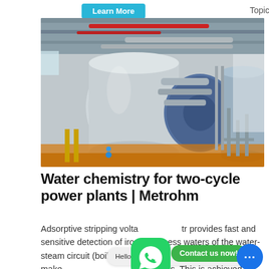Learn More   Topics
[Figure (photo): Industrial boiler room with large silver cylindrical boiler tanks, red pipes overhead, and various industrial equipment on an orange-painted floor inside a factory building.]
Water chemistry for two-cycle power plants | Metrohm
Adsorptive stripping voltammetry provides fast and sensitive detection of iron in process waters of the water-steam circuit (boiler feed water, make... of plants. This is achieved by adding suitable